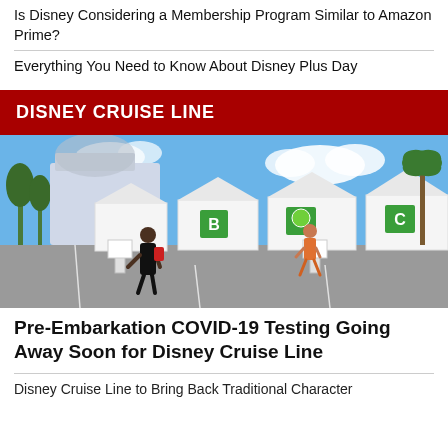Is Disney Considering a Membership Program Similar to Amazon Prime?
Everything You Need to Know About Disney Plus Day
DISNEY CRUISE LINE
[Figure (photo): Outdoor COVID-19 pre-embarkation testing tents in a parking lot near a cruise ship dock. White tent structures with green letter signs (B, C) are visible. People walk through the area under a sunny blue sky with clouds.]
Pre-Embarkation COVID-19 Testing Going Away Soon for Disney Cruise Line
Disney Cruise Line to Bring Back Traditional Character